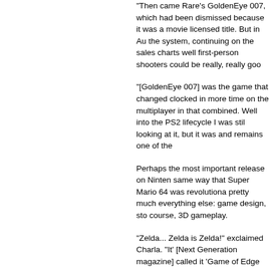"Then came Rare's GoldenEye 007, which had been dismissed because it was a movie licensed title. But in Au the system, continuing on the sales charts well first-person shooters could be really, really goo
"[GoldenEye 007] was the game that changed clocked in more time on the multiplayer in that combined. Well into the PS2 lifecycle I was stil looking at it, but it was and remains one of the
Perhaps the most important release on Ninten same way that Super Mario 64 was revolutiona pretty much everything else: game design, sto course, 3D gameplay.
"Zelda... Zelda is Zelda!" exclaimed Charla. "It' [Next Generation magazine] called it 'Game of Edge Magazine just called it the best game of a generation--so I think our call was validated!"
"Legend of Zelda: Ocarina of Time, hands dow an exclusive issue for E3 the year of its release Miyamoto, one also has [Konami's Hideo] Kojir game was completely immersive. What Mario D melodies of the ocarina still resonate with me."
So what happened? Why did Square and Enix to the "Bulky Drive?" How did Nintendo's cartri take the console crown?